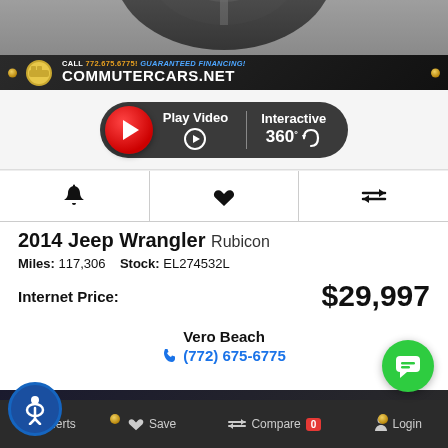[Figure (screenshot): Top portion of a black wheel/tire on gray background]
[Figure (photo): Dealership banner: CALL 772.675.6775! GUARANTEED FINANCING! COMMUTERCARS.NET with logo]
[Figure (screenshot): Play Video / Interactive 360° button pill]
[Figure (screenshot): Icon row with bell (alerts), heart (save), and compare arrows icons]
2014 Jeep Wrangler Rubicon
Miles: 117,306   Stock: EL274532L
Internet Price: $29,997
Vero Beach
(772) 675-6775
[Figure (screenshot): Bottom strip: FLORIDA'S #1 SUPERSTORE banner, accessibility button, chat button]
Alerts   Save   Compare 0   Login